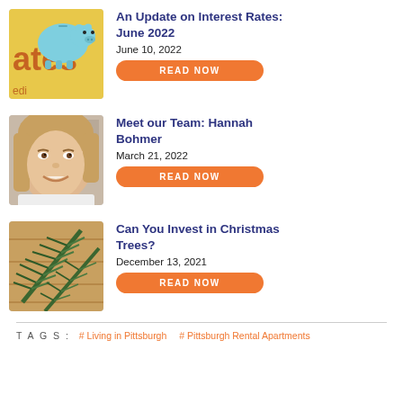[Figure (photo): Blue piggy bank on top of text reading 'rates' with yellow/orange background]
An Update on Interest Rates: June 2022
June 10, 2022
READ NOW
[Figure (photo): Young woman with blonde hair smiling, selfie-style photo]
Meet our Team: Hannah Bohmer
March 21, 2022
READ NOW
[Figure (photo): Green pine/fir tree branches on wooden background]
Can You Invest in Christmas Trees?
December 13, 2021
READ NOW
TAGS :    # Living in Pittsburgh    # Pittsburgh Rental Apartments